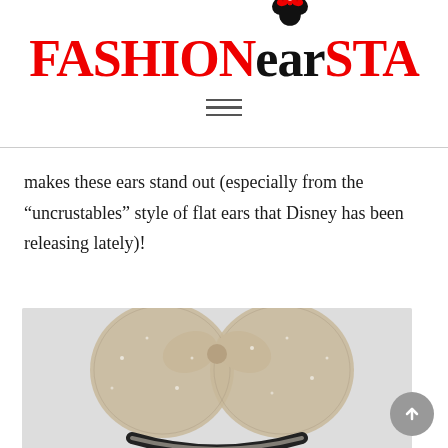FASHIONearSTA
makes these ears stand out (especially from the “uncrustables” style of flat ears that Disney has been releasing lately)!
[Figure (photo): Photo of sparkly/sequined rose gold Minnie Mouse ears headband with a large bow, against a light gray background.]